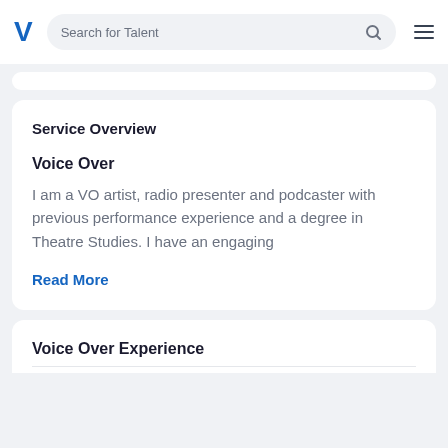Search for Talent
Service Overview
Voice Over
I am a VO artist, radio presenter and podcaster with previous performance experience and a degree in Theatre Studies. I have an engaging
Read More
Voice Over Experience